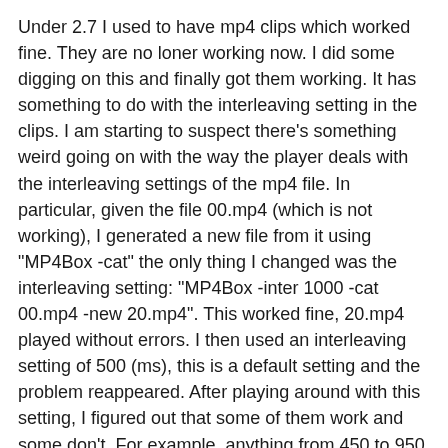Under 2.7 I used to have mp4 clips which worked fine. They are no loner working now. I did some digging on this and finally got them working. It has something to do with the interleaving setting in the clips. I am starting to suspect there's something weird going on with the way the player deals with the interleaving settings of the mp4 file. In particular, given the file 00.mp4 (which is not working), I generated a new file from it using "MP4Box -cat" the only thing I changed was the interleaving setting: "MP4Box -inter 1000 -cat 00.mp4 -new 20.mp4". This worked fine, 20.mp4 played without errors. I then used an interleaving setting of 500 (ms), this is a default setting and the problem reappeared. After playing around with this setting, I figured out that some of them work and some don't. For example, anything from 450 to 950 range doesn't work, 1000-1400 works, 1500-1900 doesn't. It seems to work better on high (several thousand ms) settings. I am currently setting it to 2000 ms.
I don't think this is the end of it though. The